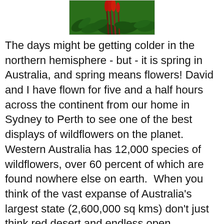[Figure (photo): Partial photo showing green foliage and red flowering plants, cropped at top of page]
The days might be getting colder in the northern hemisphere - but - it is spring in Australia, and spring means flowers! David and I have flown for five and a half hours across the continent from our home in Sydney to Perth to see one of the best displays of wildflowers on the planet. Western Australia has 12,000 species of wildflowers, over 60 percent of which are found nowhere else on earth.  When you think of the vast expanse of Australia's largest state (2,600,000 sq kms) don't just think red desert and endless open expanses, think magnificent floral tapestries in every colour of the rainbow.
The wildflowers begin to bloom in June in the north and progressively move south until the season ends in November. Being lazy (savvy) tourists, David and I shortcutted the whole wandering around in the bush thing seeking out exotic orchards and other flora and headed straight to the wildflower festival at Kings Park in Perth where from the 1st to the 30th of September the city plays host to the largest display of wildflowers in the state.